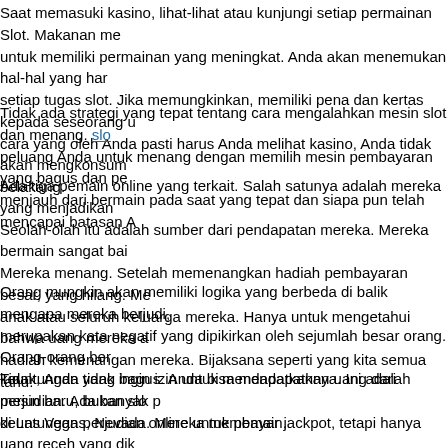Saat memasuki kasino, lihat-lihat atau kunjungi setiap permainan Slot. Makanan me... untuk memiliki permainan yang meningkat. Anda akan menemukan hal-hal yang har... setiap tugas slot. Jika memungkinkan, memiliki pena dan kertas kepada seseorang u... cara yang oleh Anda pasti harus Anda melihat kasino, Anda tidak akan mengkonsum... belakang.
Tidak ada strategi yang tepat tentang cara mengalahkan mesin slot dan menang. [link] peluang Anda untuk menang dengan memilih mesin pembayaran yang bagus dan pe... menjauh dari bermain pada saat yang tepat dan siapa pun telah mencapai batasan A...
Ada tiga pemain online yang terkait. Salah satunya adalah mereka yang menjadikan... Seolah-olah itu adalah sumber dari pendapatan mereka. Mereka bermain sangat bai... Mereka menang. Setelah memenangkan hadiah pembayaran besar, yang hilang. Me... anak atau seluruh keluarga mereka. Hanya untuk mengetahui bahwa uang mereka a... hadiah kemenangan mereka. Bijaksana seperti yang kita semua tahu.
Orang mungkin akan memiliki logika yang berbeda di balik mengapa mereka berjudi,... merupakan kata negatif yang dipikirkan oleh sejumlah besar orang. Orang-orang ber... keuntungan yang bagus. Anda bisa mendapatkan uang dari perjudian. Ada banyak p... keuntungan perjudian online untuk pemain.
Tidak, Anda tidak ingin izin untuk mendapatkannya. Ini adalah mesin baru, bukan slo... di Las Vegas, Nevada. Mereka membayar jackpot, tetapi hanya uang receh yang dik... Kasino menggunakan token untuk mengontrol pembayaran dan orang-orang yang d... sendiri memiliki nilai sama sekali sekali jauh dari bangunan. Siapa pun yang cukup...